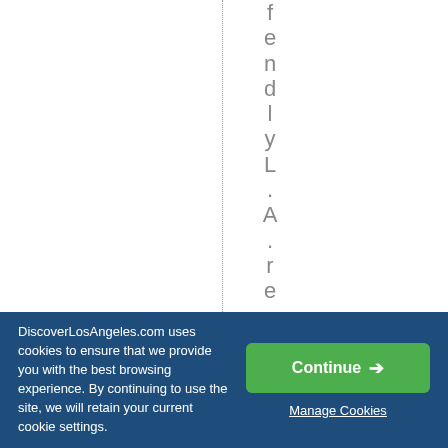friendly L.A. restaur
DiscoverLosAngeles.com uses cookies to ensure that we provide you with the best browsing experience. By continuing to use the site, we will retain your current cookie settings.
Continue →
Manage Cookies